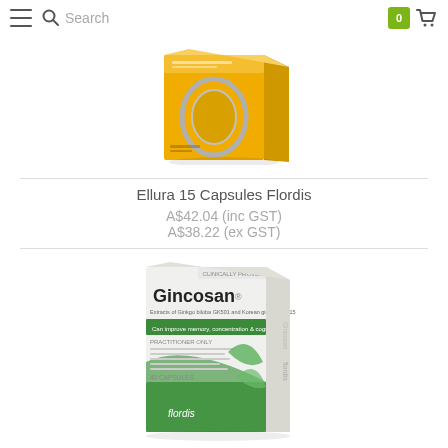Search  0
[Figure (photo): Ellura 15 Capsules Flordis product box - yellow/gold box with silver oval logo]
Ellura 15 Capsules Flordis
A$42.04 (inc GST)
A$38.22 (ex GST)
[Figure (photo): Gincosan capsules Flordis product box - white/green box with ginkgo leaf design, text: Extracts of Ginkgo biloba GK501 and Korean ginseng G115, Can improve memory, concentration & cognitive function, PRACTITIONER ONLY, 40 CAPSULES]